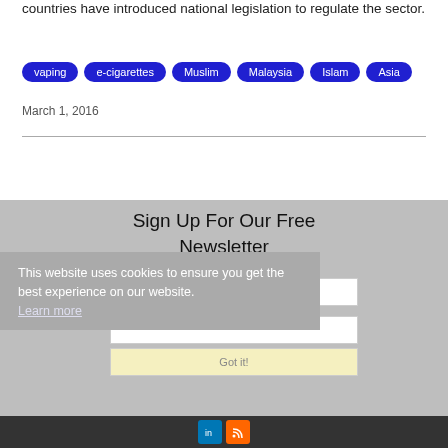countries have introduced national legislation to regulate the sector.
vaping
e-cigarettes
Muslim
Malaysia
Islam
Asia
March 1, 2016
Sign Up For Our Free Newsletter
This website uses cookies to ensure you get the best experience on our website.
Learn more
First Name *
Email Address *
Got it!